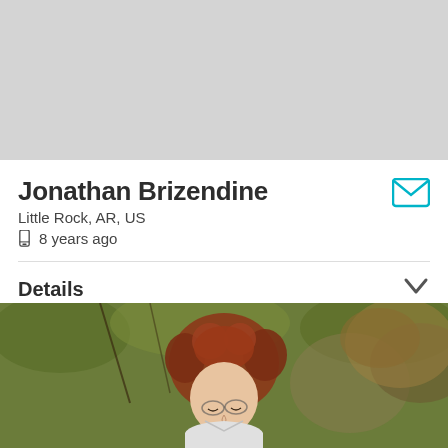[Figure (map): Gray map area placeholder at top of page]
Jonathan Brizendine
Little Rock, AR, US
8 years ago
Details
[Figure (photo): Woman with curly reddish-brown hair and glasses, looking downward, outdoors with green foliage and dry leaves in background]